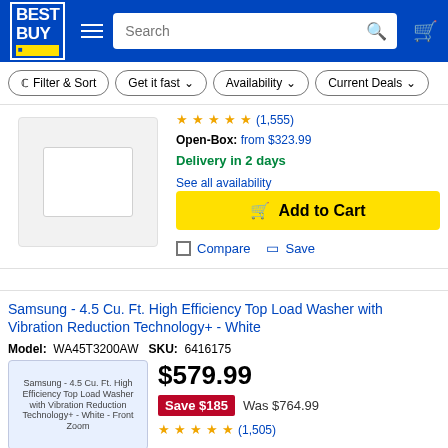[Figure (screenshot): Best Buy website header with logo, hamburger menu, search bar, and cart icon on blue background]
Filter & Sort | Get it fast | Availability | Current Deals
[Figure (photo): Product image of a white top load washer appliance]
Open-Box: from $323.99
Delivery in 2 days
See all availability
Add to Cart
Compare  Save
Samsung - 4.5 Cu. Ft. High Efficiency Top Load Washer with Vibration Reduction Technology+ - White
Model: WA45T3200AW  SKU: 6416175
[Figure (photo): Samsung - 4.5 Cu. Ft. High Efficiency Top Load Washer with Vibration Reduction Technology+ - White - Front Zoom]
$579.99
Save $185  Was $764.99
(1,505) stars rating